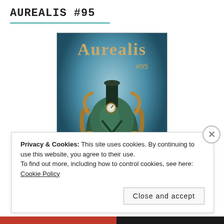AUREALIS #95
[Figure (illustration): Cover art of Aurealis #95 magazine showing a steampunk mechanical locomotive or vehicle with brass pipes, gears and fittings, emerging from clouds of steam/smoke, against a teal/blue atmospheric background. Title 'Aurealis' in stylized font at top, '#95' in upper right.]
Breathing, in Aurealis #95
Privacy & Cookies: This site uses cookies. By continuing to use this website, you agree to their use.
To find out more, including how to control cookies, see here: Cookie Policy
Close and accept